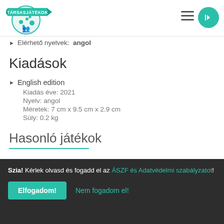[Figure (logo): Társasjátékok circular logo with teal banner and game pieces]
Elérhető nyelvek: angol
Kiadások
English edition
Kiadás éve: 2021
Nyelv: angol
Méretek: 7 cm x 9.5 cm x 2.9 cm
Súly: 0.2 kg
Hasonló játékok
Szia! Kérlek olvasd és fogadd el az ÁSZF és Adatvédelmi szabályzatot!